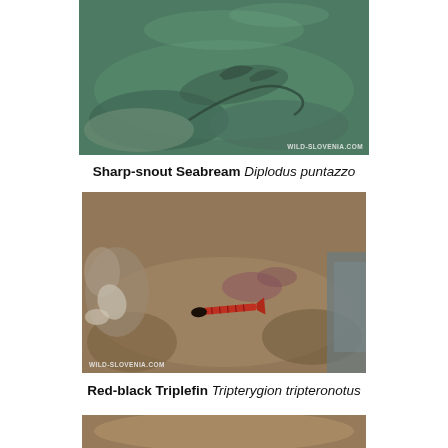[Figure (photo): Underwater photo of a Sharp-snout Seabream (Diplodus puntazzo) over sandy/rocky seafloor, with watermark WILD-SLOVENIA.com]
Sharp-snout Seabream Diplodus puntazzo
[Figure (photo): Underwater photo of a Red-black Triplefin (Tripterygion tripteronotus) on rocky/sandy bottom with shells, watermark WILD-SLOVENIA.com]
Red-black Triplefin Tripterygion tripteronotus
[Figure (photo): Partial underwater photo at bottom of page (cropped)]